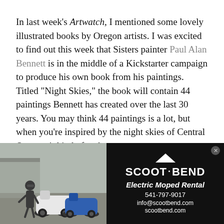In last week's Artwatch, I mentioned some lovely illustrated books by Oregon artists. I was excited to find out this week that Sisters painter Paul Alan Bennett is in the middle of a Kickstarter campaign to produce his own book from his paintings. Titled "Night Skies," the book will contain 44 paintings Bennett has created over the last 30 years. You may think 44 paintings is a lot, but when you're inspired by the night skies of Central Oregon, it kind of makes sense.

"I think that the simple act of looking up regularly at the stars and learning a bit about their mythology and positions is a healthy activity for the soul," Bennett states in his Kickstarter description. And while the
[Figure (photo): Advertisement photo showing a person standing next to electric mopeds/scooters outdoors]
[Figure (infographic): Scoot Bend advertisement with black background. Logo: SCOOT·BEND with triangle above. Text: Electric Moped Rental, 541-797-9017, info@scootbend.com, scootbend.com]